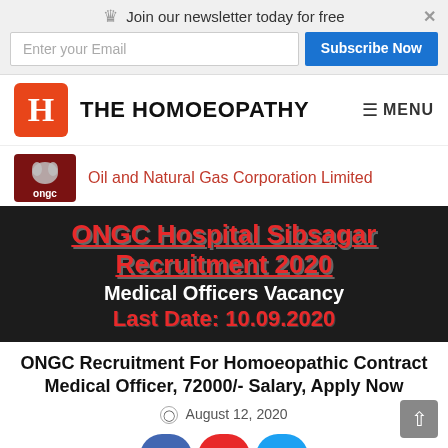Join our newsletter today for free | Enter your Email | Subscribe Now
THE HOMOEOPATHY | MENU
[Figure (logo): ONGC logo with Oil and Natural Gas Corporation Limited text]
[Figure (infographic): ONGC Hospital Sibsagar Recruitment 2020 - Medical Officers Vacancy - Last Date: 10.09.2020]
ONGC Recruitment For Homoeopathic Contract Medical Officer, 72000/- Salary, Apply Now
August 12, 2020